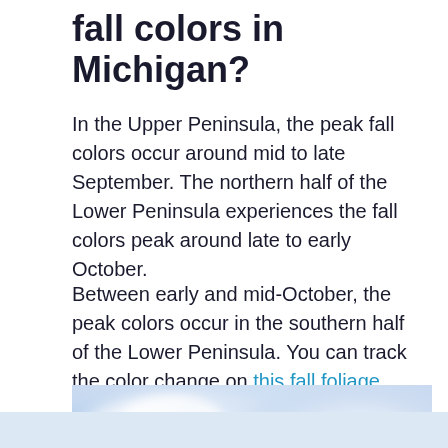fall colors in Michigan?
In the Upper Peninsula, the peak fall colors occur around mid to late September. The northern half of the Lower Peninsula experiences the fall colors peak around late to early October.
Between early and mid-October, the peak colors occur in the southern half of the Lower Peninsula. You can track the color change on this fall foliage map.
[Figure (photo): A blurry, soft-focus outdoor photo with light blue, white, and pale lavender tones, suggesting a nature or sky scene, partially cut off at the bottom of the page.]